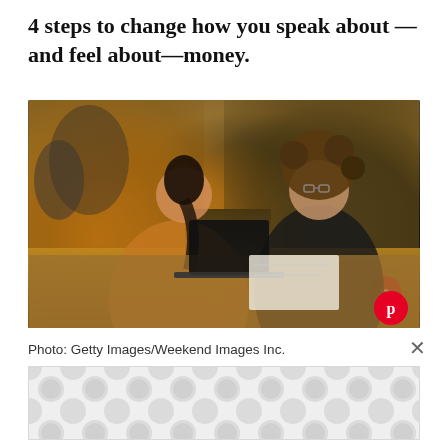4 steps to change how you speak about —and feel about—money.
[Figure (photo): Two women sitting across from each other at an office desk with a laptop between them, engaged in conversation. The woman on the left wears an orange/rust colored top and has dark hair in a ponytail. The woman on the right has curly hair and wears glasses and a dark top. Papers and documents are on the desk. Office chairs and a brick wall are visible in the background.]
Photo: Getty Images/Weekend Images Inc.
[Figure (other): Advertisement placeholder with grey polka dot pattern on light grey background.]